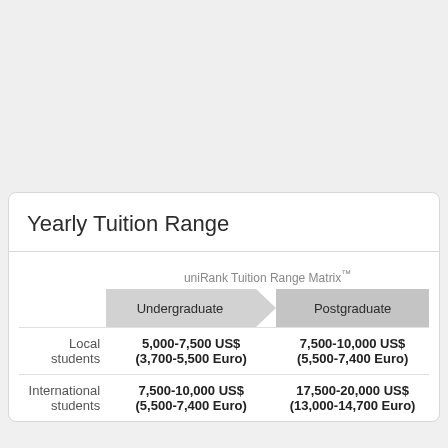Yearly Tuition Range
|  | Undergraduate | Postgraduate |
| --- | --- | --- |
| Local students | 5,000-7,500 US$ (3,700-5,500 Euro) | 7,500-10,000 US$ (5,500-7,400 Euro) |
| International students | 7,500-10,000 US$ (5,500-7,400 Euro) | 17,500-20,000 US$ (13,000-14,700 Euro) |